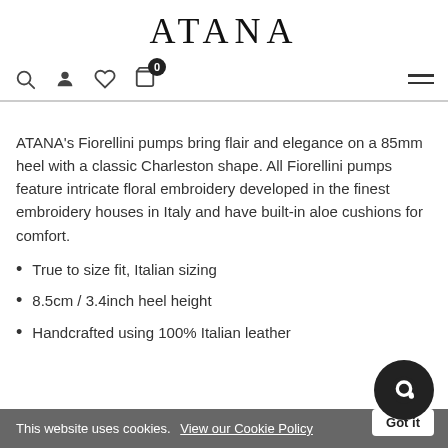ATANA
ATANA's Fiorellini pumps bring flair and elegance on a 85mm heel with a classic Charleston shape. All Fiorellini pumps feature intricate floral embroidery developed in the finest embroidery houses in Italy and have built-in aloe cushions for comfort.
True to size fit, Italian sizing
8.5cm / 3.4inch heel height
Handcrafted using 100% Italian leather
This website uses cookies. View our Cookie Policy   Got it